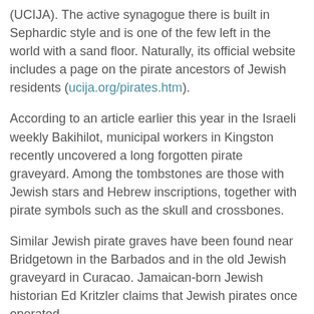(UCIJA). The active synagogue there is built in Sephardic style and is one of the few left in the world with a sand floor. Naturally, its official website includes a page on the pirate ancestors of Jewish residents (ucija.org/pirates.htm).
According to an article earlier this year in the Israeli weekly Bakihilot, municipal workers in Kingston recently uncovered a long forgotten pirate graveyard. Among the tombstones are those with Jewish stars and Hebrew inscriptions, together with pirate symbols such as the skull and crossbones.
Similar Jewish pirate graves have been found near Bridgetown in the Barbados and in the old Jewish graveyard in Curacao. Jamaican-born Jewish historian Ed Kritzler claims that Jewish pirates once operated